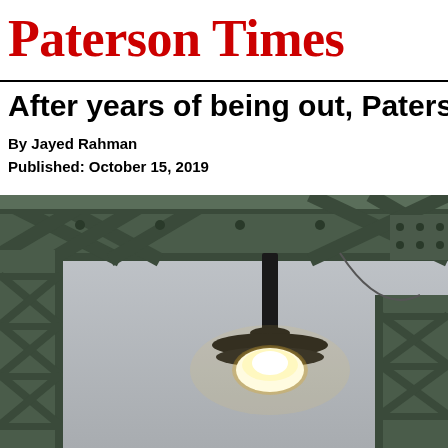Paterson Times
After years of being out, Paterson...
By Jayed Rahman
Published: October 15, 2019
[Figure (photo): Close-up photograph of a street lamp mounted on a green metal bridge truss structure, with the lamp glowing warmly against an overcast grey sky.]